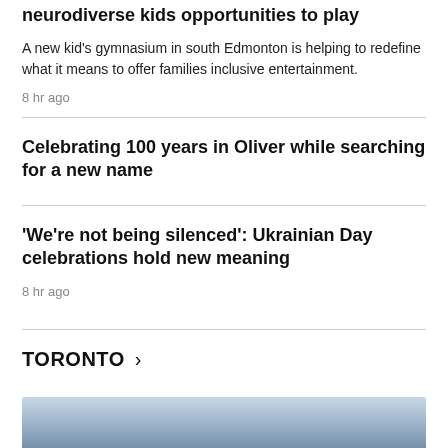neurodiverse kids opportunities to play
A new kid's gymnasium in south Edmonton is helping to redefine what it means to offer families inclusive entertainment.
8 hr ago
Celebrating 100 years in Oliver while searching for a new name
'We're not being silenced': Ukrainian Day celebrations hold new meaning
8 hr ago
TORONTO >
[Figure (photo): Partial image visible at bottom of page, appears to be a news photo]